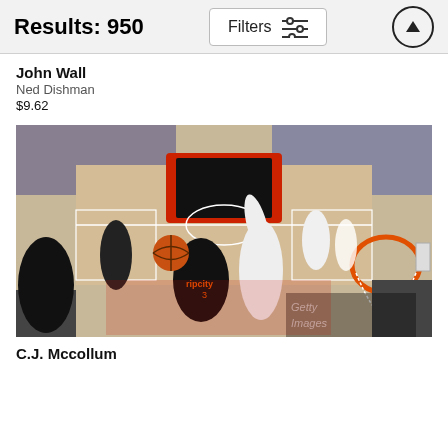Results: 950
John Wall
Ned Dishman
$9.62
[Figure (photo): NBA basketball game action photo showing Portland Trail Blazers player number 3 wearing 'ripcity' jersey driving to the basket against a defender, with a packed arena in the background]
C.J. Mccollum